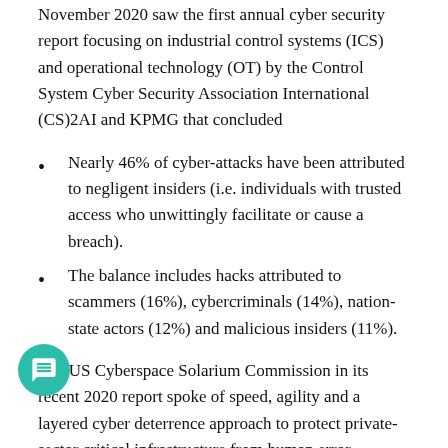November 2020 saw the first annual cyber security report focusing on industrial control systems (ICS) and operational technology (OT) by the Control System Cyber Security Association International (CS)2AI and KPMG that concluded
Nearly 46% of cyber-attacks have been attributed to negligent insiders (i.e. individuals with trusted access who unwittingly facilitate or cause a breach).
The balance includes hacks attributed to scammers (16%), cybercriminals (14%), nation-state actors (12%) and malicious insiders (11%).
The US Cyberspace Solarium Commission in its recent 2020 report spoke of speed, agility and a layered cyber deterrence approach to protect private-sector critical infrastructure from human error...